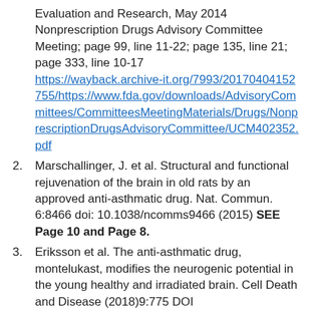Evaluation and Research, May 2014 Nonprescription Drugs Advisory Committee Meeting; page 99, line 11-22; page 135, line 21; page 333, line 10-17 https://wayback.archive-it.org/7993/20170404152755/https://www.fda.gov/downloads/AdvisoryCommittees/CommitteesMeetingMaterials/Drugs/NonprescriptionDrugsAdvisoryCommittee/UCM402352.pdf
Marschallinger, J. et al. Structural and functional rejuvenation of the brain in old rats by an approved anti-asthmatic drug. Nat. Commun. 6:8466 doi: 10.1038/ncomms9466 (2015) SEE Page 10 and Page 8.
Eriksson et al. The anti-asthmatic drug, montelukast, modifies the neurogenic potential in the young healthy and irradiated brain. Cell Death and Disease (2018)9:775 DOI
Glockler-Lauf et al. Montelukast and